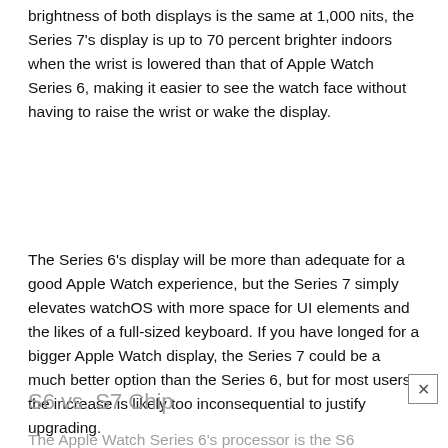brightness of both displays is the same at 1,000 nits, the Series 7's display is up to 70 percent brighter indoors when the wrist is lowered than that of Apple Watch Series 6, making it easier to see the watch face without having to raise the wrist or wake the display.
The Series 6's display will be more than adequate for a good Apple Watch experience, but the Series 7 simply elevates watchOS with more space for UI elements and the likes of a full-sized keyboard. If you have longed for a bigger Apple Watch display, the Series 7 could be a much better option than the Series 6, but for most users, the increase is likely too inconsequential to justify upgrading.
S6 vs. S7 Chip
The Apple Watch Series 6's processor is the S6...